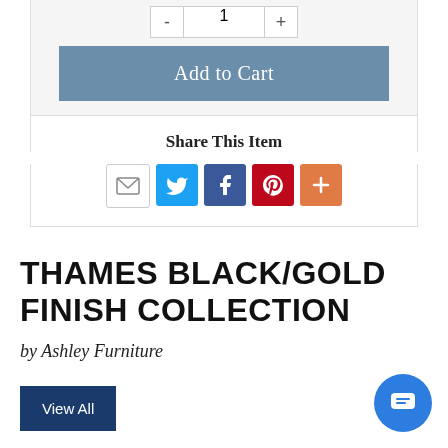[Figure (screenshot): Quantity selector with minus and plus buttons and input field showing 1]
[Figure (screenshot): Add to Cart button in steel blue]
Share This Item
[Figure (infographic): Social share icons: email, Twitter, Facebook, Pinterest, More]
THAMES BLACK/GOLD FINISH COLLECTION
by Ashley Furniture
[Figure (screenshot): View All button in dark navy blue]